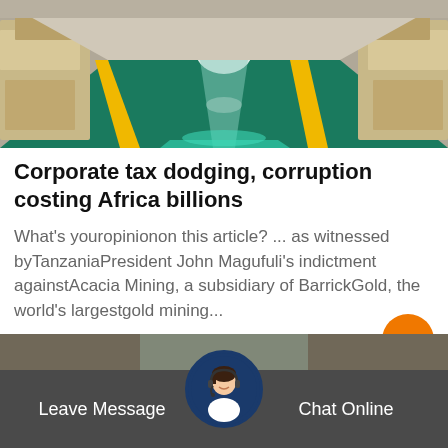[Figure (photo): Industrial facility interior showing a long corridor with green-tiled floor, yellow lane markings, and heavy machinery on both sides, with bright white light at the far end.]
Corporate tax dodging, corruption costing Africa billions
What's youropinionon this article? ... as witnessed byTanzaniaPresident John Magufuli's indictment againstAcacia Mining, a subsidiary of BarrickGold, the world's largestgold mining...
[Figure (screenshot): Orange 'Get Price' button]
[Figure (photo): Bottom navigation bar with 'Leave Message' on left, customer service agent avatar in center, 'Chat Online' on right, on dark gray background.]